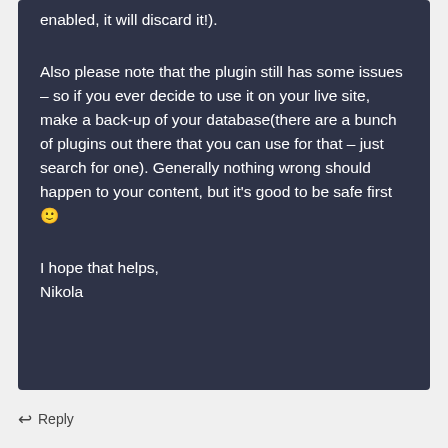enabled, it will discard it!).
Also please note that the plugin still has some issues – so if you ever decide to use it on your live site, make a back-up of your database(there are a bunch of plugins out there that you can use for that – just search for one). Generally nothing wrong should happen to your content, but it's good to be safe first 🙂
I hope that helps,
Nikola
↩ Reply